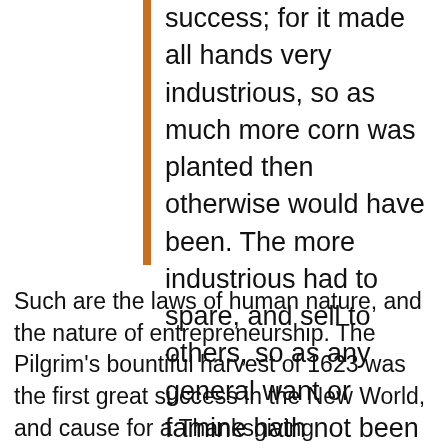success; for it made all hands very industrious, so as much more corn was planted then otherwise would have been. The more industrious had to spare, and sell to others, so as any general want or famine hath not been amongst them since to this day.
Such are the laws of human nature, and the nature of entrepreneurship. The Pilgrim's bountiful harvest of 1623 was the first great success in the New World, and cause for a Thanksgiving celebration. Poetic Justice Warrior William Bradford's epiphany was the triumph of capitalism over collectivism, and it completes the chain reaction – freedom, responsibility, self government, capitalism, abundance, and the